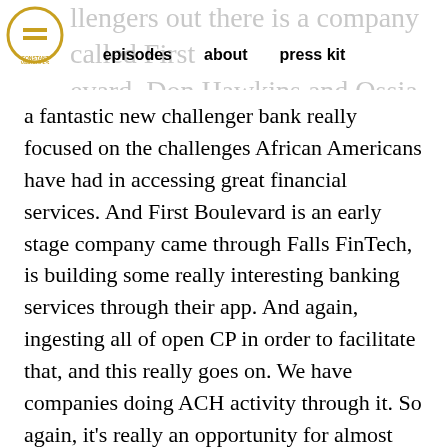challengers out there is a company called First Boulevard. Don Hawkins and Ossia Bradley have | episodes   about   press kit
a fantastic new challenger bank really focused on the challenges African Americans have had in accessing great financial services. And First Boulevard is an early stage company came through Falls FinTech, is building some really interesting banking services through their app. And again, ingesting all of open CP in order to facilitate that, and this really goes on. We have companies doing ACH activity through it. So again, it's really an opportunity for almost any use case to come in to us and get access to the whole ecosystem.
And one of the reasons why we're particularly fond of it is that it not only is attractive to the marketplace, it improves our overall risk